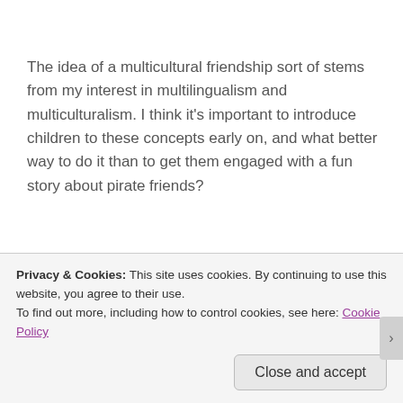The idea of a multicultural friendship sort of stems from my interest in multilingualism and multiculturalism. I think it's important to introduce children to these concepts early on, and what better way to do it than to get them engaged with a fun story about pirate friends?
How important was the critique process (no pressure!)?
Privacy & Cookies: This site uses cookies. By continuing to use this website, you agree to their use.
To find out more, including how to control cookies, see here: Cookie Policy